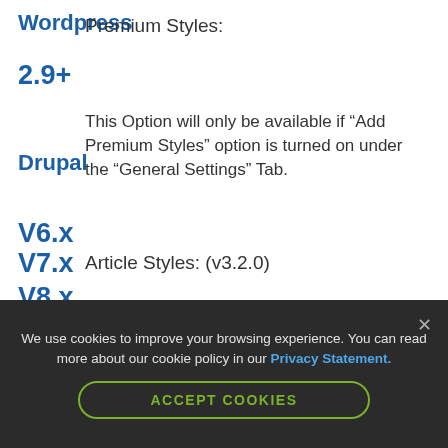Wordpress
Premium Styles:
2.9+
This Option will only be available if “Add Premium Styles” option is turned on under the “General Settings” Tab.
Drupal
V6.x
V7.x
Article Styles: (v3.2.0)
V8.x
◆ Enable Pull Quote Styles:
Joomla!
We use cookies to improve your browsing experience. You can read more about our cookie policy in our Privacy Statement.
ACCEPT COOKIES